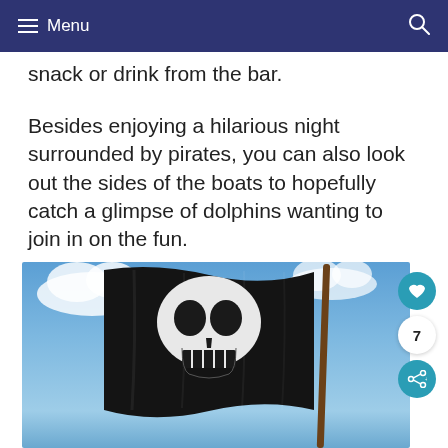≡ Menu
snack or drink from the bar.
Besides enjoying a hilarious night surrounded by pirates, you can also look out the sides of the boats to hopefully catch a glimpse of dolphins wanting to join in on the fun.
[Figure (photo): A black pirate flag (Jolly Roger) with a skull design waving against a blue cloudy sky, mounted on a wooden pole.]